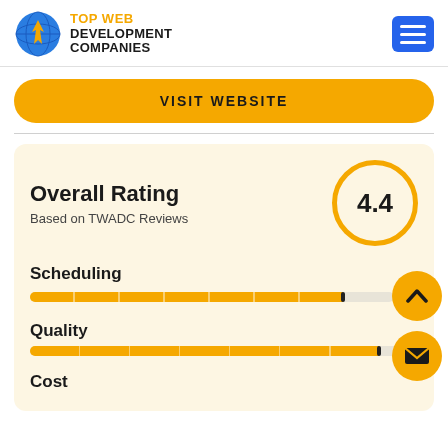[Figure (logo): Top Web Development Companies globe logo with orange flame and company name]
VISIT WEBSITE
Overall Rating
Based on TWADC Reviews
4.4
Scheduling
Quality
Cost